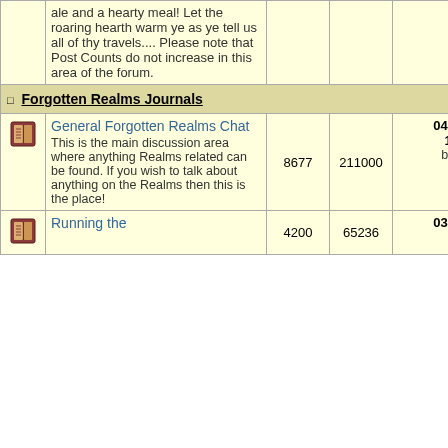|  | Forum | Topics | Posts | Last Post | Moderators |
| --- | --- | --- | --- | --- | --- |
| [icon] | ale and a hearty meal! Let the roaring hearth warm ye as ye tell us all of thy travels.... Please note that Post Counts do not increase in this area of the forum. |  |  |  |  |
| [section header] | Forgotten Realms Journals |  |  |  |  |
| [icon] | General Forgotten Realms Chat
This is the main discussion area where anything Realms related can be found. If you wish to talk about anything on the Realms then this is the place! | 8677 | 211000 | 04 Sep 2022 18:48:15 by: Azar → | Alaundo, The Sage, Wooly Rupe... |
| [icon] | Running the... | 4200 | 65236 | 03 Sep 2022 | Alaundo, |